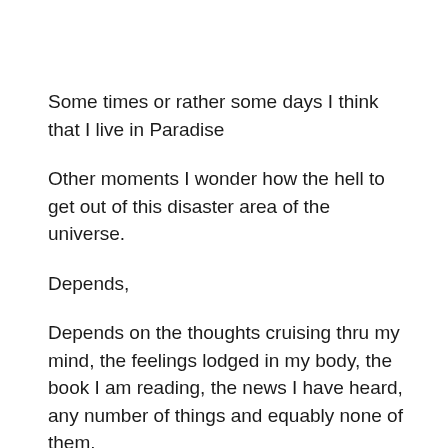Some times or rather some days I think that I live in Paradise
Other moments I wonder how the hell to get out of this disaster area of the universe.
Depends,
Depends on the thoughts cruising thru my mind, the feelings lodged in my body, the book I am reading, the news I have heard, any number of things and equably none of them.